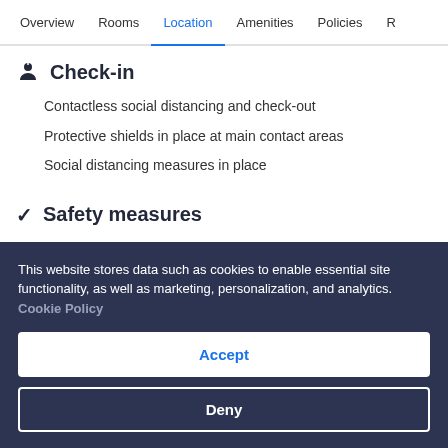Overview  Rooms  Location  Amenities  Policies  R
Check-in
Contactless social distancing and check-out
Protective shields in place at main contact areas
Social distancing measures in place
Safety measures
Personal protective equipment worn by staff
Temperature checks given to staff
This website stores data such as cookies to enable essential site functionality, as well as marketing, personalization, and analytics. Cookie Policy
Accept
Deny